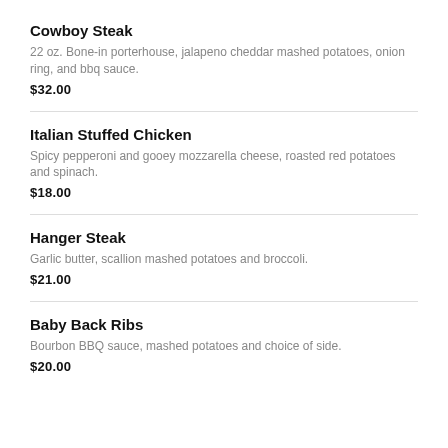Cowboy Steak
22 oz. Bone-in porterhouse, jalapeno cheddar mashed potatoes, onion ring, and bbq sauce.
$32.00
Italian Stuffed Chicken
Spicy pepperoni and gooey mozzarella cheese, roasted red potatoes and spinach.
$18.00
Hanger Steak
Garlic butter, scallion mashed potatoes and broccoli.
$21.00
Baby Back Ribs
Bourbon BBQ sauce, mashed potatoes and choice of side.
$20.00